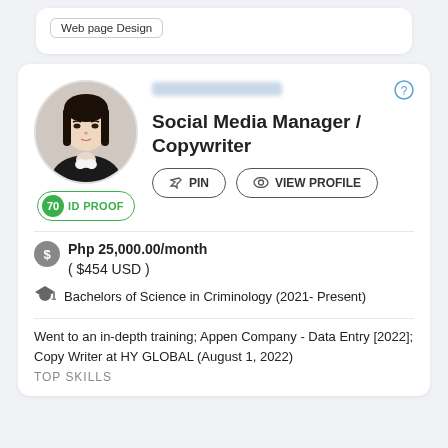Web page Design
[Figure (photo): Circular avatar photo of a young Asian woman with long black hair wearing a black blazer, professional headshot]
Social Media Manager / Copywriter
70 ID PROOF
PIN
VIEW PROFILE
Php 25,000.00/month
( $454 USD )
Bachelors of Science in Criminology (2021- Present)
Went to an in-depth training; Appen Company - Data Entry [2022]; Copy Writer at HY GLOBAL (August 1, 2022)
TOP SKILLS